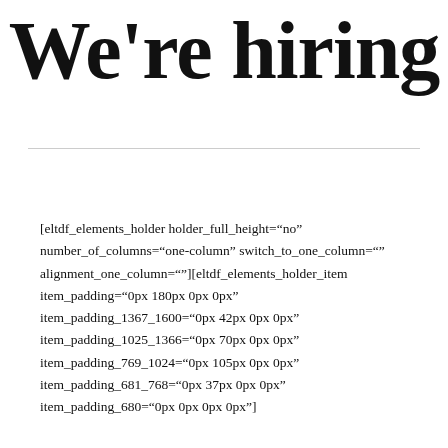We're hiring
[eltdf_elements_holder holder_full_height="no" number_of_columns="one-column" switch_to_one_column="" alignment_one_column=""][eltdf_elements_holder_item item_padding="0px 180px 0px 0px" item_padding_1367_1600="0px 42px 0px 0px" item_padding_1025_1366="0px 70px 0px 0px" item_padding_769_1024="0px 105px 0px 0px" item_padding_681_768="0px 37px 0px 0px" item_padding_680="0px 0px 0px 0px"]